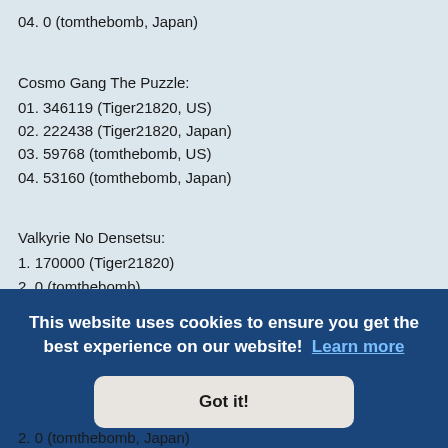04. 0 (tomthebomb, Japan)
Cosmo Gang The Puzzle:
01. 346119 (Tiger21820, US)
02. 222438 (Tiger21820, Japan)
03. 59768 (tomthebomb, US)
04. 53160 (tomthebomb, Japan)
Valkyrie No Densetsu:
1. 170000 (Tiger21820)
2. 0 (tomthebomb)
Splatter House:
1. 3400 (Tiger21820, World, new version, SH3)
2. 2200 (Tiger21820, Japan, SH1)
3. 1000 (Tiger21820, World, old version, SH2)
This website uses cookies to ensure you get the best experience on our website!  Learn more
Got it!
2. 0 (tomthebomb, Japan)